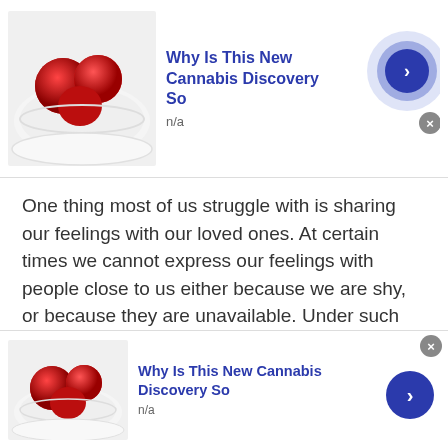[Figure (screenshot): Top advertisement banner: image of red fruit candy in a white bowl, text 'Why Is This New Cannabis Discovery So', sub 'n/a', blue circular arrow button, close button]
One thing most of us struggle with is sharing our feelings with our loved ones. At certain times we cannot express our feelings with people close to us either because we are shy, or because they are unavailable. Under such circumstances, a person might feel overwhelmed.
Luckily, Talkwithstranger is a platform that connects you with random strangers either from your local area, or foreign regions. Talking with strangers in such situations can help. Plus, since a stranger knows nothing about you
[Figure (screenshot): Bottom advertisement banner: image of red fruit candy in a white bowl, text 'Why Is This New Cannabis Discovery So', sub 'n/a', blue circular arrow button, close button]